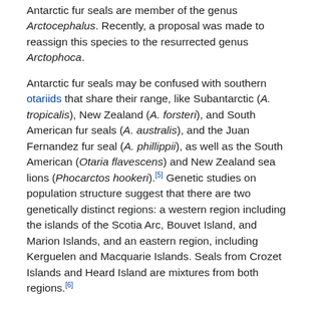Antarctic fur seals are member of the genus Arctocephalus. Recently, a proposal was made to reassign this species to the resurrected genus Arctophoca.
Antarctic fur seals may be confused with southern otariids that share their range, like Subantarctic (A. tropicalis), New Zealand (A. forsteri), and South American fur seals (A. australis), and the Juan Fernandez fur seal (A. phillippii), as well as the South American (Otaria flavescens) and New Zealand sea lions (Phocarctos hookeri).[5] Genetic studies on population structure suggest that there are two genetically distinct regions: a western region including the islands of the Scotia Arc, Bouvet Island, and Marion Islands, and an eastern region, including Kerguelen and Macquarie Islands. Seals from Crozet Islands and Heard Island are mixtures from both regions.[6]
Description
The fur seal is a